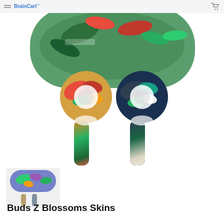[Figure (photo): Product photo of Galaxy Buds Z earbuds with tropical blossoms skin design. Two earbuds shown from front view with colorful floral and leaf patterns — left earbud has warm tones (red, orange, gold, green), right earbud has cool tones (dark navy, green, cream). Behind them partially visible is the matching charging case with the same tropical pattern. A website navigation bar with a logo and cart icon appears at the very top.]
[Figure (photo): Small thumbnail photo showing the Galaxy Buds Z charging case skin with tropical blossoms pattern (blues, purples, greens) and two earbud stems/connectors below it.]
Buds Z Blossoms Skins